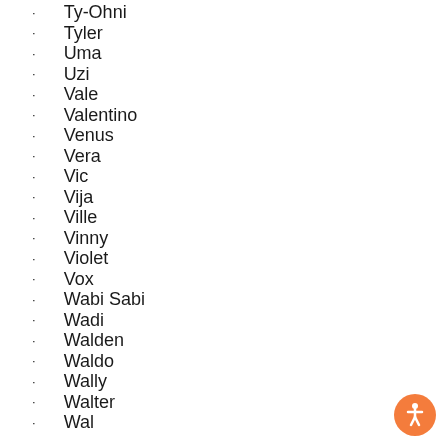Ty-Ohni
Tyler
Uma
Uzi
Vale
Valentino
Venus
Vera
Vic
Vija
Ville
Vinny
Violet
Vox
Wabi Sabi
Wadi
Walden
Waldo
Wally
Walter
Wal...